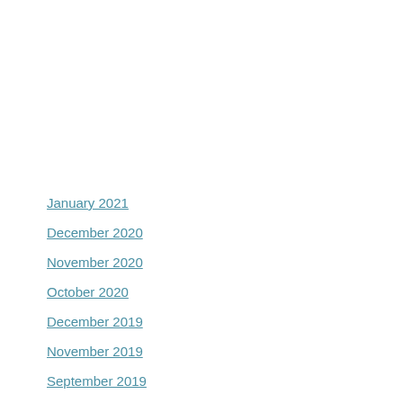January 2021
December 2020
November 2020
October 2020
December 2019
November 2019
September 2019
August 2019
July 2019
May 2019